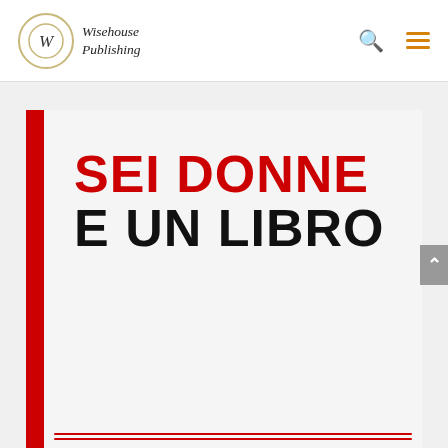[Figure (logo): Wisehouse Publishing logo: circular emblem with W letter and italic text 'Wisehouse Publishing']
[Figure (illustration): Book cover for 'SEI DONNE E UN LIBRO' — red vertical bar on left, light gray background, 'SEI DONNE' in bold red uppercase, 'E UN LIBRO' in bold black uppercase, red lines at bottom]